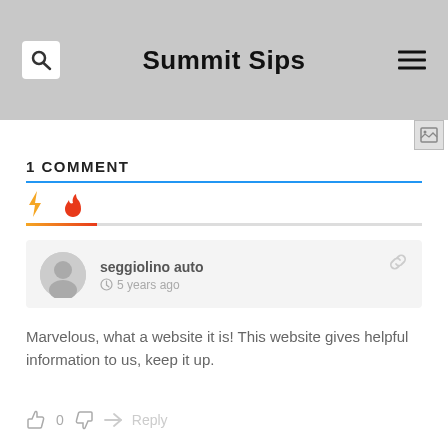Summit Sips
[Figure (photo): Photo of a drink/glass in background behind the header]
1 COMMENT
seggiolino auto
5 years ago
Marvelous, what a website it is! This website gives helpful information to us, keep it up.
0  Reply